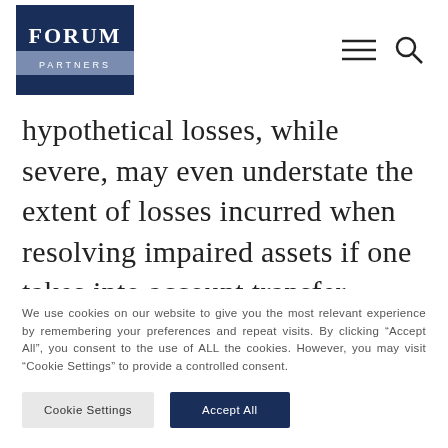Forum Partners
hypothetical losses, while severe, may even understate the extent of losses incurred when resolving impaired assets if one takes into account transfer
We use cookies on our website to give you the most relevant experience by remembering your preferences and repeat visits. By clicking “Accept All”, you consent to the use of ALL the cookies. However, you may visit "Cookie Settings" to provide a controlled consent.